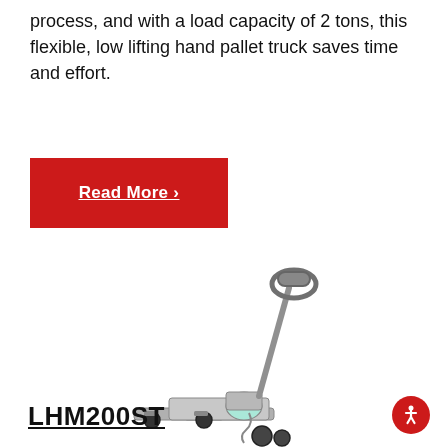process, and with a load capacity of 2 tons, this flexible, low lifting hand pallet truck saves time and effort.
Read More ›
[Figure (photo): Stainless steel low-lifting hand pallet truck (LHM200ST) photographed on white background, showing forks, wheels, and tiller arm with handle.]
LHM200ST